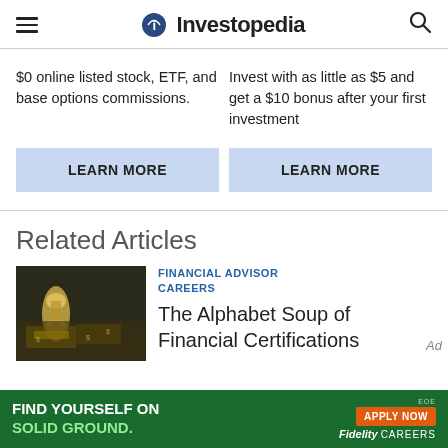Investopedia
$0 online listed stock, ETF, and base options commissions.
Invest with as little as $5 and get a $10 bonus after your first investment
LEARN MORE
LEARN MORE
Related Articles
[Figure (photo): Hourglass with money/dollar bills in background]
FINANCIAL ADVISOR CAREERS
The Alphabet Soup of Financial Certifications
[Figure (infographic): Fidelity Careers advertisement banner: FIND YOURSELF ON SOLID GROUND. APPLY NOW. Fidelity CAREERS.]